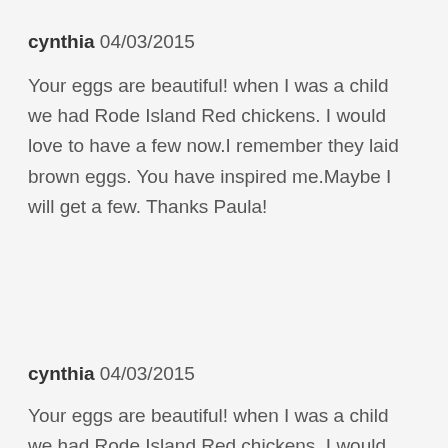cynthia 04/03/2015
Your eggs are beautiful! when I was a child we had Rode Island Red chickens. I would love to have a few now.I remember they laid brown eggs. You have inspired me.Maybe I will get a few. Thanks Paula!
cynthia 04/03/2015
Your eggs are beautiful! when I was a child we had Rode Island Red chickens. I would love to have a few now.I remember they laid brown